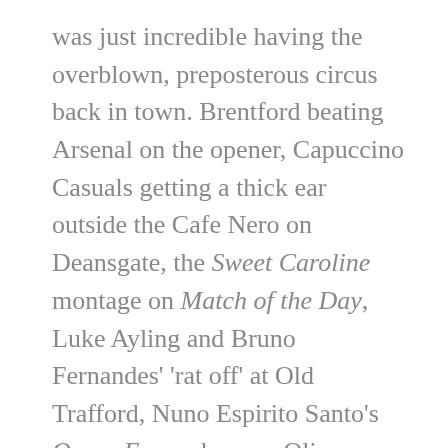was just incredible having the overblown, preposterous circus back in town. Brentford beating Arsenal on the opener, Capuccino Casuals getting a thick ear outside the Cafe Nero on Deansgate, the Sweet Caroline montage on Match of the Day, Luke Ayling and Bruno Fernandes' 'rat off' at Old Trafford, Nuno Espirito Santo's Queer Eye makeover, Oliver Skipp looking like he should be getting filled in by Dennis Waterman in a scrap yard. All of it; the fucking lot.
As for the Toffees, everyone knows what